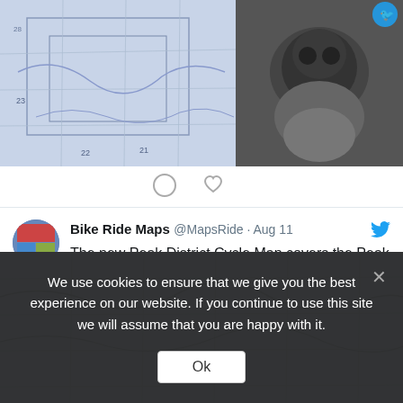[Figure (photo): Two images side by side: left shows a blue cycling/road map, right shows a black and white photo of an animal (appears to be a sheep or similar)]
[Figure (screenshot): Tweet from Bike Ride Maps @MapsRide on Aug 11 about the new Peak District Cycle Map covering Peak District, parts of Derbyshire, Staffordshire, Cheshire, Greater Manchester, West Yorkshire and South Yorkshire, plus Manchester, Leeds, Derby and Sheffield. With hashtags #cycling #Map #PeakDistrict and link bikeridemaps.co.uk/shop/peak-dist...]
Bike Ride Maps @MapsRide · Aug 11
The new Peak District Cycle Map covers the Peak District, parts of Derbyshire, Staffordshire, Cheshire, Greater Manchester, West Yorkshire and South Yorkshire, plus Manchester, Leeds, Derby and Sheffield.
#cycling #Map #PeakDistrict bikeridemaps.co.uk/shop/peak-dist...
We use cookies to ensure that we give you the best experience on our website. If you continue to use this site we will assume that you are happy with it.